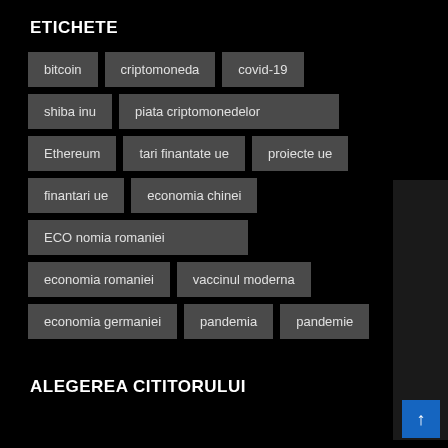ETICHETE
bitcoin
criptomoneda
covid-19
shiba inu
piata criptomonedelor
Ethereum
tari finantate ue
proiecte ue
finantari ue
economia chinei
ECO nomia romaniei
economia romaniei
vaccinul moderna
economia germaniei
pandemia
pandemie
ALEGEREA CITITORULUI